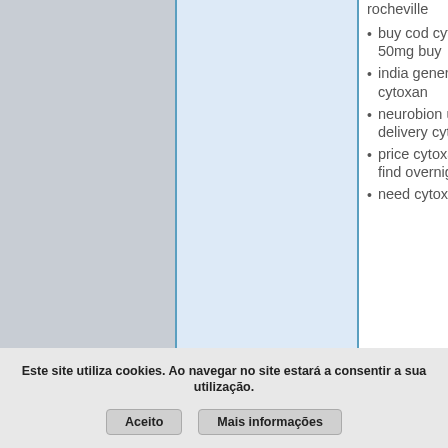rocheville (partial, cut off at top)
buy cod cytoxan 50mg buy
india generic cytoxan
neurobion uk delivery cytoxan
price cytoxan online find overnight
need cytoxan (partial, cut off at bottom)
Este site utiliza cookies. Ao navegar no site estará a consentir a sua utilização.
Aceito
Mais informações